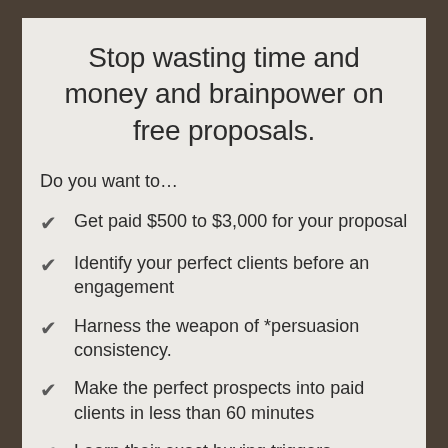Stop wasting time and money and brainpower on free proposals.
Do you want to…
Get paid $500 to $3,000 for your proposal
Identify your perfect clients before an engagement
Harness the weapon of *persuasion consistency.
Make the perfect prospects into paid clients in less than 60 minutes
Learn their exact buying triggers
Train a non-sales person to take all of the